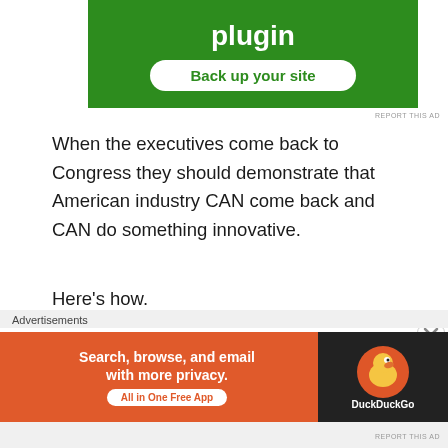[Figure (screenshot): Green advertisement banner with white text 'plugin' and a white rounded button labeled 'Back up your site']
REPORT THIS AD
When the executives come back to Congress they should demonstrate that American industry CAN come back and CAN do something innovative.
Here's how.
1. GM should shut down many of its lines and many of its brands. Do a real house cleaning. Why do we need Saturn, Buick, Cadillac, GMC, Chevy? We don't. Pick
Advertisements
[Figure (screenshot): DuckDuckGo advertisement banner: orange background with text 'Search, browse, and email with more privacy. All in One Free App' and DuckDuckGo logo on dark right panel]
REPORT THIS AD